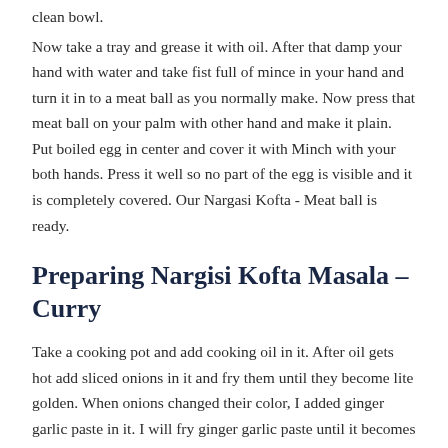clean bowl.
Now take a tray and grease it with oil. After that damp your hand with water and take fist full of mince in your hand and turn it in to a meat ball as you normally make. Now press that meat ball on your palm with other hand and make it plain. Put boiled egg in center and cover it with Minch with your both hands. Press it well so no part of the egg is visible and it is completely covered. Our Nargasi Kofta - Meat ball is ready.
Preparing Nargisi Kofta Masala – Curry
Take a cooking pot and add cooking oil in it. After oil gets hot add sliced onions in it and fry them until they become lite golden. When onions changed their color, I added ginger garlic paste in it. I will fry ginger garlic paste until it becomes lite golden.
Now add tomatoes and keep stirring the spoon so spices do not stick with the cooking pot. After that add all dry spices in it and mix them.